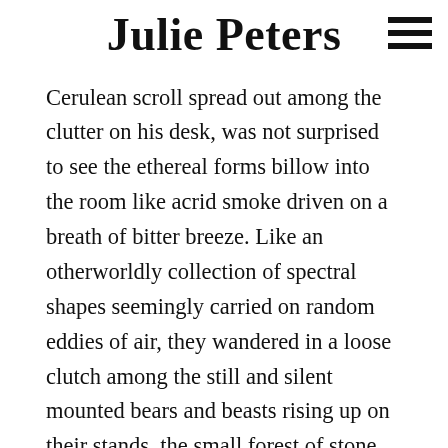Julie Peters
Cerulean scroll spread out among the clutter on his desk, was not surprised to see the ethereal forms billow into the room like acrid smoke driven on a breath of bitter breeze. Like an otherworldly collection of spectral shapes seemingly carried on random eddies of air, they wandered in a loose clutch among the still and silent mounted bears and beasts rising up on their stands, the small forest of stone pedestals holding massive books of recorded prophecy, and the evenly spaced display cases of oddities, their glass reflecting the firelight from the massive hearth at the side of the room." "Since the seven rarely used doors, the shutters on the windows down on the ground level several stories below stood open in a fearless show of invitation. Though they